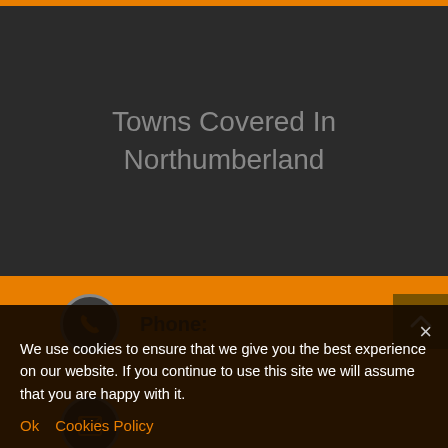Towns Covered In Northumberland
Phone:
0161 486 6048
Email:
enquiries@nicadddigital.com
We use cookies to ensure that we give you the best experience on our website. If you continue to use this site we will assume that you are happy with it.
Ok   Cookies Policy